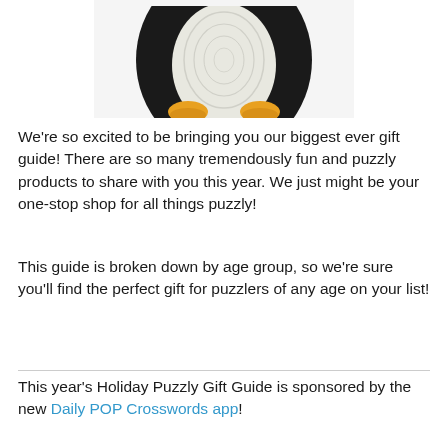[Figure (photo): A crocheted plush penguin toy, black body with white belly and yellow/orange feet, photographed against a white background. Only the lower portion of the penguin is visible (head is cropped).]
We’re so excited to be bringing you our biggest ever gift guide! There are so many tremendously fun and puzzly products to share with you this year. We just might be your one-stop shop for all things puzzly!
This guide is broken down by age group, so we’re sure you’ll find the perfect gift for puzzlers of any age on your list!
This year’s Holiday Puzzly Gift Guide is sponsored by the new Daily POP Crosswords app!